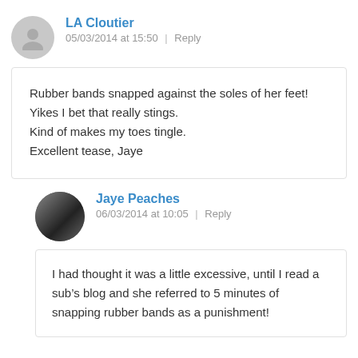LA Cloutier
05/03/2014 at 15:50 | Reply
Rubber bands snapped against the soles of her feet! Yikes I bet that really stings.
Kind of makes my toes tingle.
Excellent tease, Jaye
Jaye Peaches
06/03/2014 at 10:05 | Reply
I had thought it was a little excessive, until I read a sub's blog and she referred to 5 minutes of snapping rubber bands as a punishment!